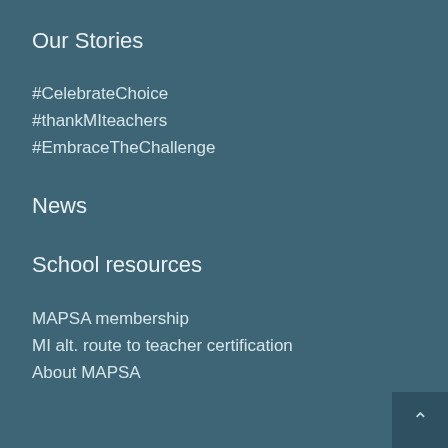Our Stories
#CelebrateChoice
#thankMIteachers
#EmbraceTheChallenge
News
School resources
MAPSA membership
MI alt. route to teacher certification
About MAPSA